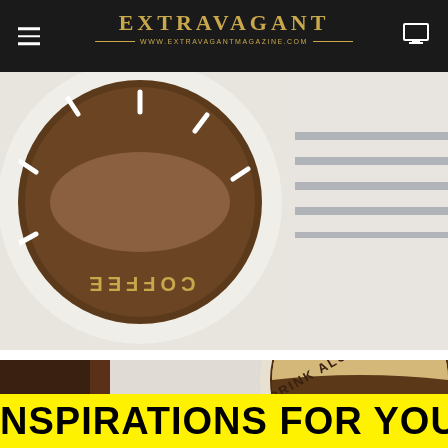EXTRAVAGANT — www.extravagantmagazine.com
[Figure (photo): Close-up photo of a circular wooden clock with 'COFFEE' text engraved, dark walnut face with white hour markers, white outer ring, striped textile in background]
[Figure (photo): Close-up photo of a circular wooden clock with 'DRINK ALCOHOL' engraved text, light maple and dark walnut two-tone face, dark wooden chair partially visible in background]
NSPIRATIONS FOR YOUR LIVING